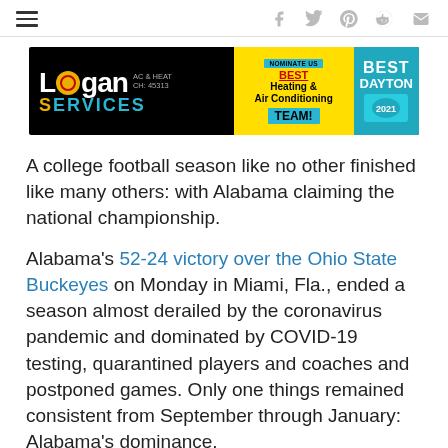Navigation and social share icons (hamburger menu, Facebook, Twitter, Pinterest, Reddit, Email)
[Figure (other): Logan AC & Heat Services advertisement banner — black background with yellow/teal accents. Text: Logan AC & Heat Services, OH: 45313, Nominate Us Best Heating & Air Conditioning Team!, Best Dayton]
A college football season like no other finished like many others: with Alabama claiming the national championship.
Alabama's 52-24 victory over the Ohio State Buckeyes on Monday in Miami, Fla., ended a season almost derailed by the coronavirus pandemic and dominated by COVID-19 testing, quarantined players and coaches and postponed games. Only one things remained consistent from September through January: Alabama's dominance.